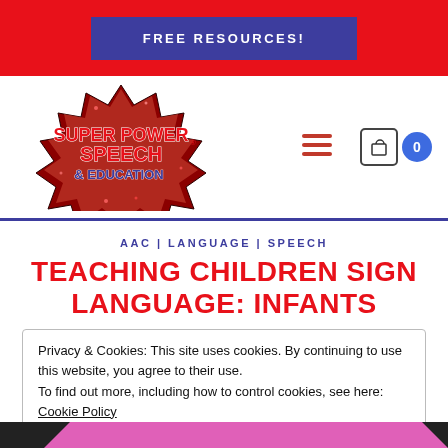FREE RESOURCES!
[Figure (logo): Super Power Speech & Education logo — red glittery starburst with text 'SUPER POWER SPEECH & EDUCATION' in red and blue comic-style font]
AAC | LANGUAGE | SPEECH
TEACHING CHILDREN SIGN LANGUAGE: INFANTS
Privacy & Cookies: This site uses cookies. By continuing to use this website, you agree to their use.
To find out more, including how to control cookies, see here:
Cookie Policy

Close and accept